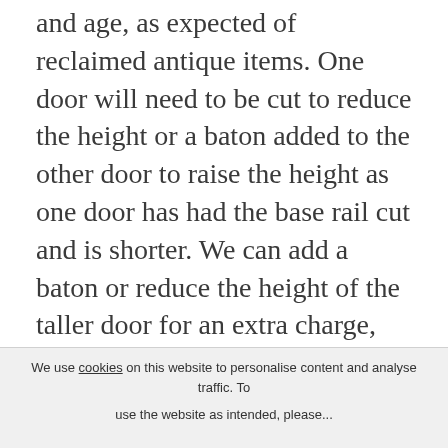and age, as expected of reclaimed antique items. One door will need to be cut to reduce the height or a baton added to the other door to raise the height as one door has had the base rail cut and is shorter. We can add a baton or reduce the height of the taller door for an extra charge, please contact us to discuss your requirements and for a quote. Measurements of each door height are listed below. There are some holes and marks left from hardware removal. We can patch repair
We use cookies on this website to personalise content and analyse traffic. To use the website as intended, please...